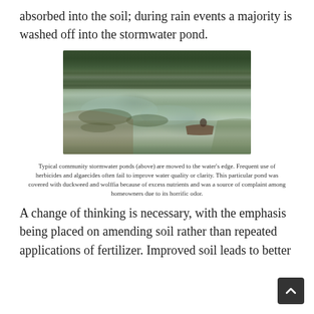absorbed into the soil; during rain events a majority is washed off into the stormwater pond.
[Figure (photo): Photograph of a typical community stormwater pond surrounded by tall pine trees and vegetation, with a small boat visible near the bank. The pond surface is covered with aquatic plants (duckweed and wolffia).]
Typical community stormwater ponds (above) are mowed to the water's edge. Frequent use of herbicides and algaecides often fail to improve water quality or clarity. This particular pond was covered with duckweed and wolffia because of excess nutrients and was a source of complaint among homeowners due to its horrific odor.
A change of thinking is necessary, with the emphasis being placed on amending soil rather than repeated applications of fertilizer. Improved soil leads to better